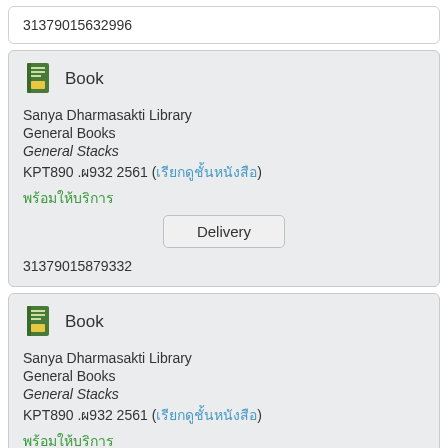31379015632996
Book — Sanya Dharmasakti Library, General Books, General Stacks, KPT890 .ผ932 2561 (เรียกดูชั้นหนังสือ), พร้อมให้บริการ, Delivery, 31379015879332
Book — Sanya Dharmasakti Library, General Books, General Stacks, KPT890 .ผ932 2561 (เรียกดูชั้นหนังสือ), พร้อมให้บริการ